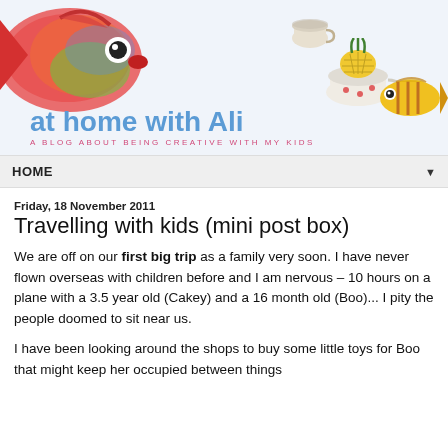[Figure (illustration): Blog header banner for 'at home with Ali' featuring colorful illustrated fish on the left, teacups and a pineapple cup in the center-right, and another small fish on the far right. Below the illustrations is the blog title 'at home with Ali' in large blue text and subtitle 'A BLOG ABOUT BEING CREATIVE WITH MY KIDS' in pink/magenta spaced letters.]
HOME ▼
Friday, 18 November 2011
Travelling with kids (mini post box)
We are off on our first big trip as a family very soon. I have never flown overseas with children before and I am nervous – 10 hours on a plane with a 3.5 year old (Cakey) and a 16 month old (Boo)... I pity the people doomed to sit near us.
I have been looking around the shops to buy some little toys for Boo that might keep her occupied between things